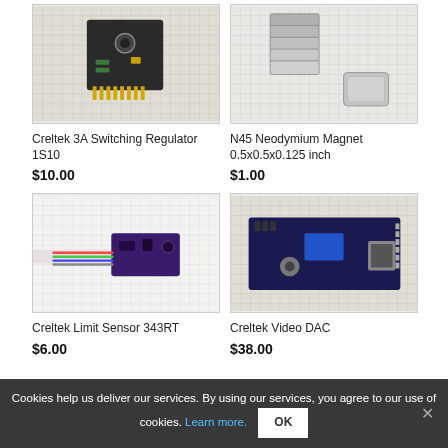[Figure (photo): Photo of Creltek 3A Switching Regulator 1S10 circuit board on graph paper]
[Figure (photo): Photo of N45 Neodymium Magnets 0.5x0.5x0.125 inch on grid paper]
Creltek 3A Switching Regulator 1S10
$10.00
N45 Neodymium Magnet 0.5x0.5x0.125 inch
$1.00
[Figure (photo): Photo of Creltek Limit Sensor 343RT with colored wires on white background]
[Figure (photo): Photo of Creltek Video DAC circuit board with VGA connector]
Creltek Limit Sensor 343RT
$6.00
Creltek Video DAC
$38.00
Cookies help us deliver our services. By using our services, you agree to our use of cookies. Learn more.